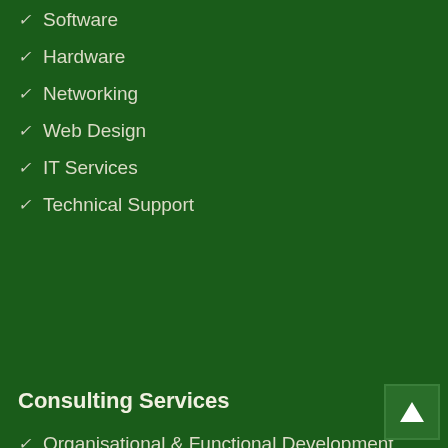Software
Hardware
Networking
Web Design
IT Services
Technical Support
Consulting Services
Organisational & Functional Development
Human Resources Management